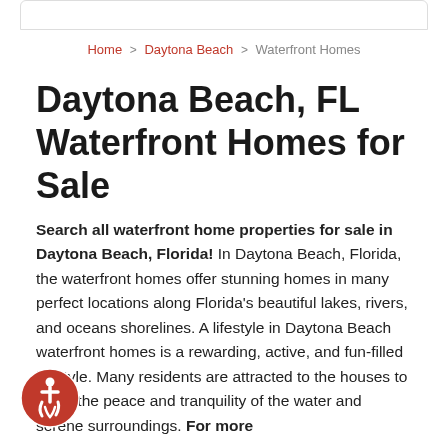Home > Daytona Beach > Waterfront Homes
Daytona Beach, FL Waterfront Homes for Sale
Search all waterfront home properties for sale in Daytona Beach, Florida! In Daytona Beach, Florida, the waterfront homes offer stunning homes in many perfect locations along Florida's beautiful lakes, rivers, and oceans shorelines. A lifestyle in Daytona Beach waterfront homes is a rewarding, active, and fun-filled lifestyle. Many residents are attracted to the houses to enjoy the peace and tranquility of the water and serene surroundings. For more